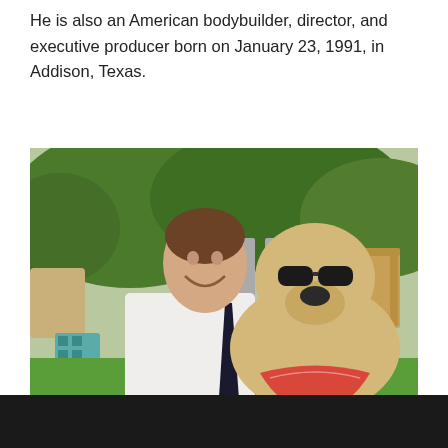He is also an American bodybuilder, director, and executive producer born on January 23, 1991, in Addison, Texas.
[Figure (photo): A smiling young man in a white shirt and dark tie posing outdoors with a golden retriever wearing sunglasses and a red bandana around its neck. The background shows green bushes, patio chairs, and a wooden chair.]